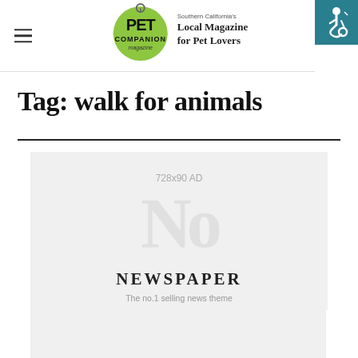Pet Companion Magazine — Southern California's Local Magazine for Pet Lovers
Tag: walk for animals
[Figure (other): 728x90 AD placeholder with Newspaper theme preview showing 'NEWSPAPER - The no.1 selling news theme']